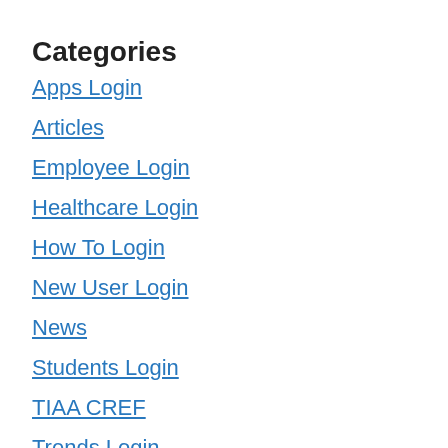Categories
Apps Login
Articles
Employee Login
Healthcare Login
How To Login
New User Login
News
Students Login
TIAA CREF
Trends Login
Uncategorized